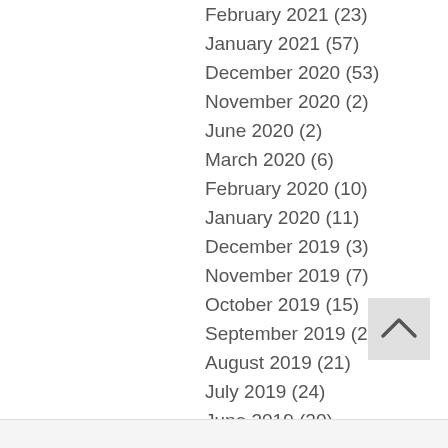February 2021 (23)
January 2021 (57)
December 2020 (53)
November 2020 (2)
June 2020 (2)
March 2020 (6)
February 2020 (10)
January 2020 (11)
December 2019 (3)
November 2019 (7)
October 2019 (15)
September 2019 (22)
August 2019 (21)
July 2019 (24)
June 2019 (20)
May 2019 (16)
April 2019 (21)
March 2019 (20)
February 2019 (15)
January 2019 (1…)